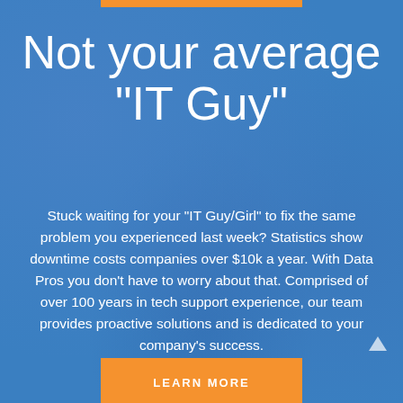Not your average "IT Guy"
Stuck waiting for your "IT Guy/Girl" to fix the same problem you experienced last week? Statistics show downtime costs companies over $10k a year. With Data Pros you don't have to worry about that. Comprised of over 100 years in tech support experience, our team provides proactive solutions and is dedicated to your company's success.
LEARN MORE